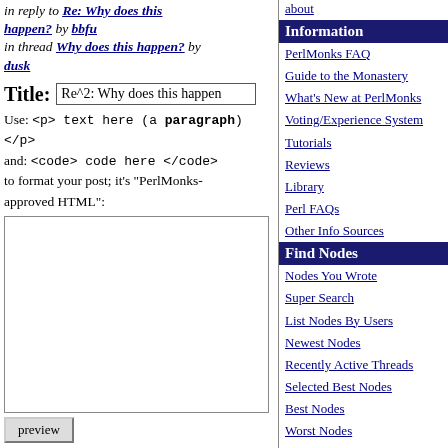in reply to Re: Why does this happen? by bbfu in thread Why does this happen? by dusk
Title: Re^2: Why does this happen
Use: <p> text here (a paragraph) </p> and: <code> code here </code> to format your post; it's "PerlMonks-approved HTML":
Information
PerlMonks FAQ
Guide to the Monastery
What's New at PerlMonks
Voting/Experience System
Tutorials
Reviews
Library
Perl FAQs
Other Info Sources
Find Nodes
Nodes You Wrote
Super Search
List Nodes By Users
Newest Nodes
Recently Active Threads
Selected Best Nodes
Best Nodes
Worst Nodes
Saints in our Book
Leftovers
The St. Larry Wall Shrine
Buy PerlMonks Gear
Offering Plate
Awards
Random Node
Quests
Are you posting in the right place? Check out Where do I post X? to